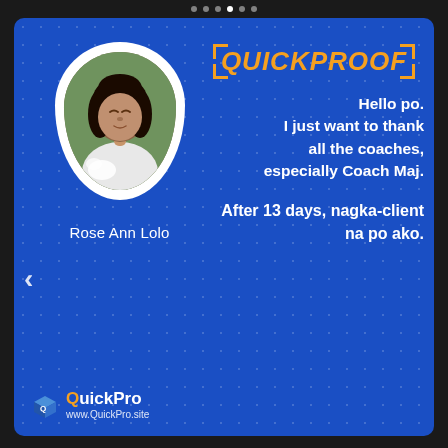[Figure (photo): Profile photo of Rose Ann Lolo in a white egg-shaped frame on a blue background with dot pattern]
Rose Ann Lolo
[Figure (logo): QUICKPROOF logo text in orange bold italic with orange bracket corners]
Hello po. I just want to thank all the coaches, especially Coach Maj.
After 13 days, nagka-client na po ako.
[Figure (logo): QuickPro logo with blue 3D cube icon and text QuickPro and www.QuickPro.site]